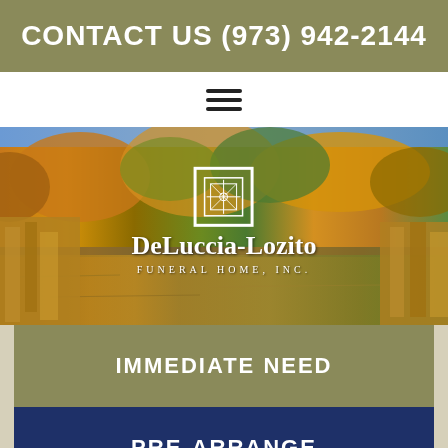CONTACT US (973) 942-2144
[Figure (other): Hamburger menu icon (three horizontal lines)]
[Figure (photo): Autumn landscape photo with trees reflecting in a river/lake, showing orange, yellow and green foliage. Overlaid with DeLuccia-Lozito Funeral Home, Inc. logo and name.]
IMMEDIATE NEED
PRE-ARRANGE